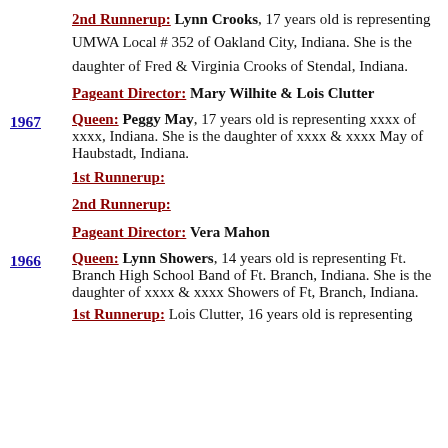2nd Runnerup: Lynn Crooks, 17 years old is representing UMWA Local # 352 of Oakland City, Indiana. She is the daughter of Fred & Virginia Crooks of Stendal, Indiana.
Pageant Director: Mary Wilhite & Lois Clutter
1967  Queen: Peggy May, 17 years old is representing xxxx of xxxx, Indiana. She is the daughter of xxxx & xxxx May of Haubstadt, Indiana.
1st Runnerup:
2nd Runnerup:
Pageant Director: Vera Mahon
1966  Queen: Lynn Showers, 14 years old is representing Ft. Branch High School Band of Ft. Branch, Indiana. She is the daughter of xxxx & xxxx Showers of Ft, Branch, Indiana.
1st Runnerup: Lois Clutter, 16 years old is representing